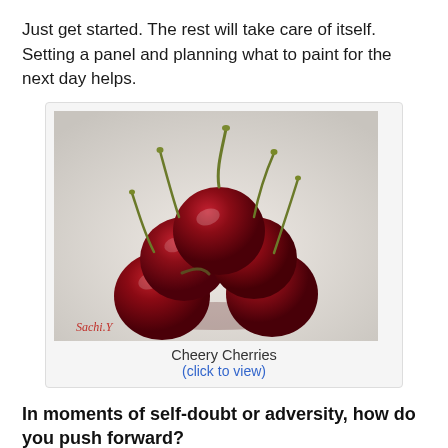Just get started. The rest will take care of itself. Setting a panel and planning what to paint for the next day helps.
[Figure (illustration): Oil painting of a group of red cherries with stems on a light grey/white textured background, signed 'Sachi.Y' in the lower left corner.]
Cheery Cherries
(click to view)
In moments of self-doubt or adversity, how do you push forward?